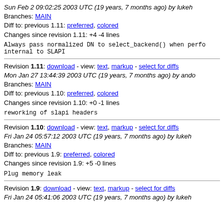Sun Feb 2 09:02:25 2003 UTC (19 years, 7 months ago) by lukeh
Branches: MAIN
Diff to: previous 1.11: preferred, colored
Changes since revision 1.11: +4 -4 lines
Always pass normalized DN to select_backend() when perfo internal to SLAPI
Revision 1.11: download - view: text, markup - select for diffs
Mon Jan 27 13:44:39 2003 UTC (19 years, 7 months ago) by ando
Branches: MAIN
Diff to: previous 1.10: preferred, colored
Changes since revision 1.10: +0 -1 lines
reworking of slapi headers
Revision 1.10: download - view: text, markup - select for diffs
Fri Jan 24 05:57:12 2003 UTC (19 years, 7 months ago) by lukeh
Branches: MAIN
Diff to: previous 1.9: preferred, colored
Changes since revision 1.9: +5 -0 lines
Plug memory leak
Revision 1.9: download - view: text, markup - select for diffs
Fri Jan 24 05:41:06 2003 UTC (19 years, 7 months ago) by lukeh